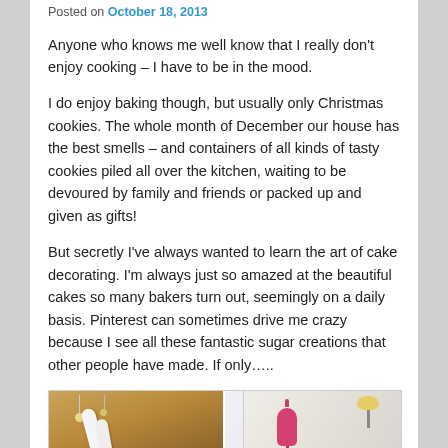Posted on October 18, 2013
Anyone who knows me well know that I really don't enjoy cooking – I have to be in the mood.
I do enjoy baking though, but usually only Christmas cookies. The whole month of December our house has the best smells – and containers of all kinds of tasty cookies piled all over the kitchen, waiting to be devoured by family and friends or packed up and given as gifts!
But secretly I've always wanted to learn the art of cake decorating. I'm always just so amazed at the beautiful cakes so many bakers turn out, seemingly on a daily basis. Pinterest can sometimes drive me crazy because I see all these fantastic sugar creations that other people have made. If only…..
[Figure (photo): Two side-by-side photos: left shows a white rolling pin or utensil on a golden/brown background with hanging ornaments; right shows a pink dress-form mannequin and a person's hand with a light/lamp on a light background.]